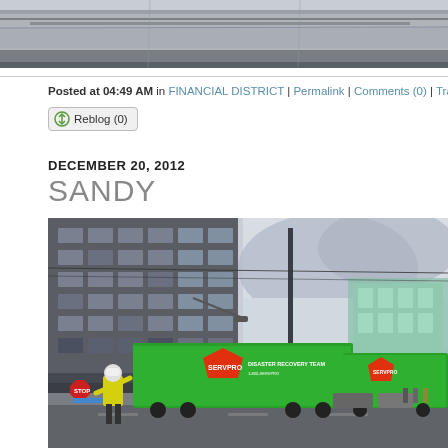[Figure (photo): Top portion of a photo showing ceiling/architectural detail with gray metallic surface]
Posted at 04:49 AM in FINANCIAL DISTRICT | Permalink | Comments (0) | Tra
Reblog (0)
DECEMBER 20, 2012
SANDY
[Figure (photo): Street scene showing green SERVPRO disaster recovery trucks parked along a city street with tall office buildings. A worker in a yellow high-visibility vest and white hard hat is directing traffic. The sky is partly cloudy.]